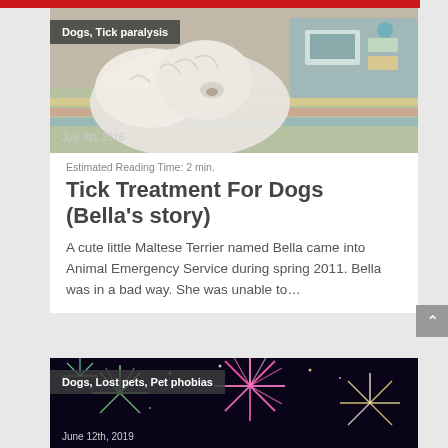[Figure (photo): Photo of a small white fluffy dog (Maltese Terrier) lying on a colorful blanket next to medical equipment. Overlaid tag: 'Dogs, Tick paralysis'. Date: July 9th, 2016.]
Estimated Reading Time: 2 min.
Tick Treatment For Dogs (Bella’s story)
A cute little Maltese Terrier named Bella came into Animal Emergency Service during spring 2011. Bella was in a bad way. She was unable to…
[Figure (photo): Photo of colorful fireworks on a dark background. Overlaid tag: 'Dogs, Lost pets, Pet phobias'. Date: June 12th, 2019.]